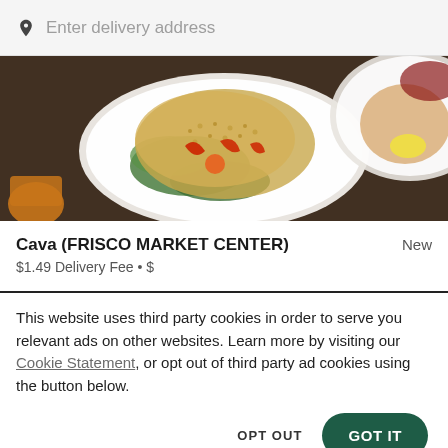Enter delivery address
[Figure (photo): Overhead photo of a grain and vegetable salad bowl with red peppers, greens, and chickpeas on a dark wooden table, with other dishes partially visible.]
Cava (FRISCO MARKET CENTER)
New
$1.49 Delivery Fee • $
This website uses third party cookies in order to serve you relevant ads on other websites. Learn more by visiting our Cookie Statement, or opt out of third party ad cookies using the button below.
OPT OUT
GOT IT